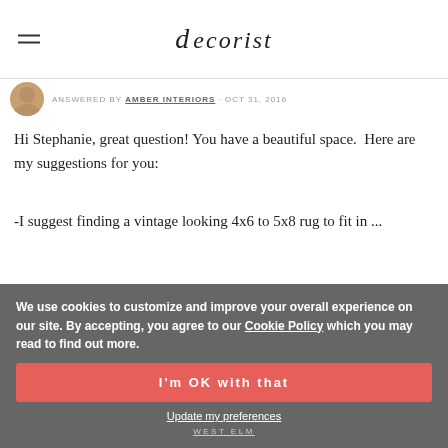decorist
ANSWERED BY AMBER INTERIORS · OCT 31, 2016
Hi Stephanie, great question! You have a beautiful space.  Here are my suggestions for you:
-I suggest finding a vintage looking 4x6 to 5x8 rug to fit in ...
[Figure (photo): Partial view of a gray ceramic vase on a light gray background, with a West Elm label visible at bottom]
We use cookies to customize and improve your overall experience on our site. By accepting, you agree to our Cookie Policy which you may read to find out more.
I'm OK with that
Update my preferences
WEST ELM